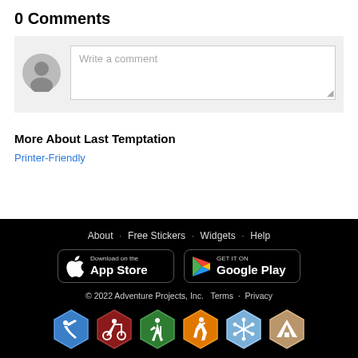0 Comments
[Figure (screenshot): Comment input area with avatar and text field saying 'Write a comment']
More About Last Temptation
Printer-Friendly
About · Free Stickers · Widgets · Help
© 2022 Adventure Projects, Inc. Terms · Privacy